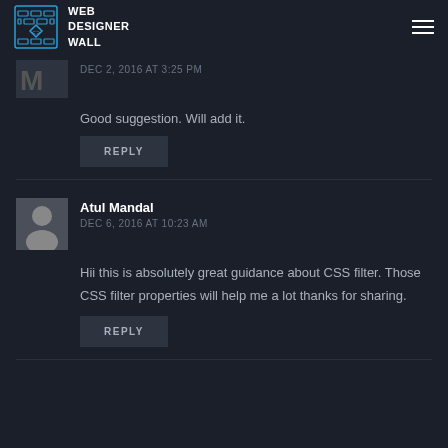WEB DESIGNER WALL
DEC 2, 2016 AT 3:25 PM
Good suggestion. Will add it.
REPLY
Atul Mandal
DEC 6, 2016 AT 10:23 AM
Hii this is absolutely great guidance about CSS filter. Those CSS filter properties will help me a lot thanks for sharing.
REPLY